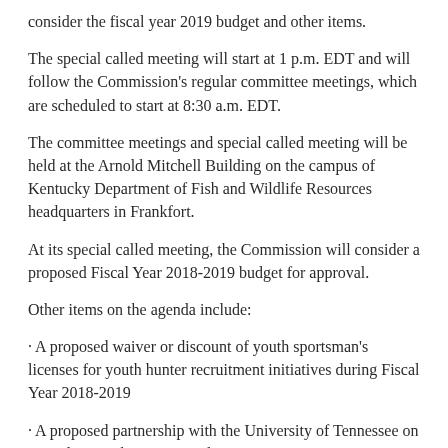consider the fiscal year 2019 budget and other items.
The special called meeting will start at 1 p.m. EDT and will follow the Commission's regular committee meetings, which are scheduled to start at 8:30 a.m. EDT.
The committee meetings and special called meeting will be held at the Arnold Mitchell Building on the campus of Kentucky Department of Fish and Wildlife Resources headquarters in Frankfort.
At its special called meeting, the Commission will consider a proposed Fiscal Year 2018-2019 budget for approval.
Other items on the agenda include:
· A proposed waiver or discount of youth sportsman's licenses for youth hunter recruitment initiatives during Fiscal Year 2018-2019
· A proposed partnership with the University of Tennessee on a quail research project at Blue Grass Army Depot